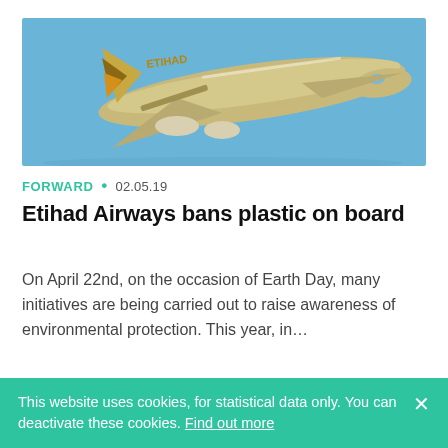[Figure (photo): Etihad Airways Airbus A380 aircraft in flight against a blue sky, with gold and white livery and Etihad branding on tail and fuselage.]
FORWARD • 02.05.19
Etihad Airways bans plastic on board
On April 22nd, on the occasion of Earth Day, many initiatives are being carried out to raise awareness of environmental protection. This year, in…
[Figure (photo): Group of men in traditional Arab white thobes and headdress at a formal event.]
This website uses cookies, for statistical data only. You can deactivate these cookies. Find out more